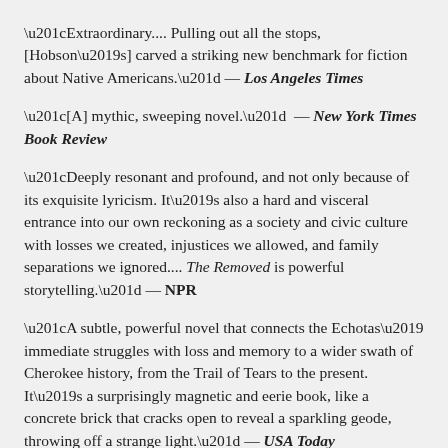“Extraordinary.... Pulling out all the stops, [Hobson’s] carved a striking new benchmark for fiction about Native Americans.” — Los Angeles Times
“[A] mythic, sweeping novel.” — New York Times Book Review
“Deeply resonant and profound, and not only because of its exquisite lyricism. It’s also a hard and visceral entrance into our own reckoning as a society and civic culture with losses we created, injustices we allowed, and family separations we ignored.... The Removed is powerful storytelling.” — NPR
“A subtle, powerful novel that connects the Echotas’ immediate struggles with loss and memory to a wider swath of Cherokee history, from the Trail of Tears to the present. It’s a surprisingly magnetic and eerie book, like a concrete brick that cracks open to reveal a sparkling geode, throwing off a strange light.” — USA Today